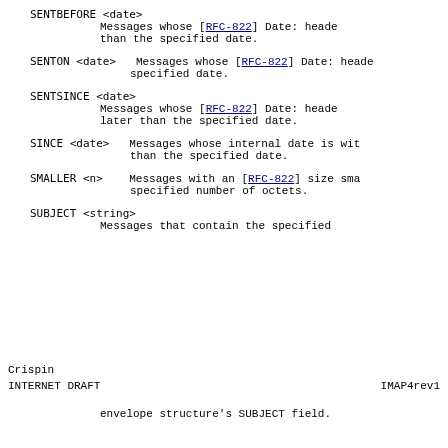SENTBEFORE <date>   Messages whose [RFC-822] Date: header is earlier than the specified date.
SENTON <date>   Messages whose [RFC-822] Date: header is within the specified date.
SENTSINCE <date>   Messages whose [RFC-822] Date: header is within or later than the specified date.
SINCE <date>   Messages whose internal date is within or later than the specified date.
SMALLER <n>   Messages with an [RFC-822] size smaller than the specified number of octets.
SUBJECT <string>   Messages that contain the specified string in the envelope structure's SUBJECT field.
Crispin
INTERNET DRAFT                              IMAP4rev1

envelope structure's SUBJECT field.